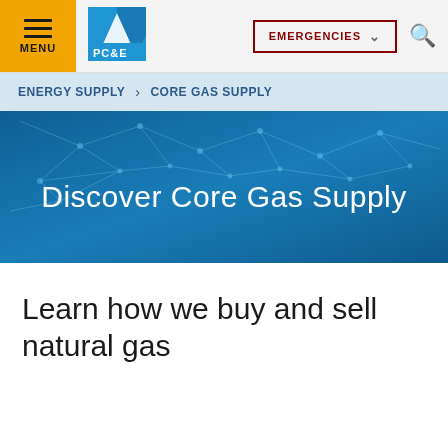MENU | PG&E | EMERGENCIES | Search
ENERGY SUPPLY > CORE GAS SUPPLY
[Figure (illustration): Blue network/technology hero banner with white text 'Discover Core Gas Supply']
Learn how we buy and sell natural gas